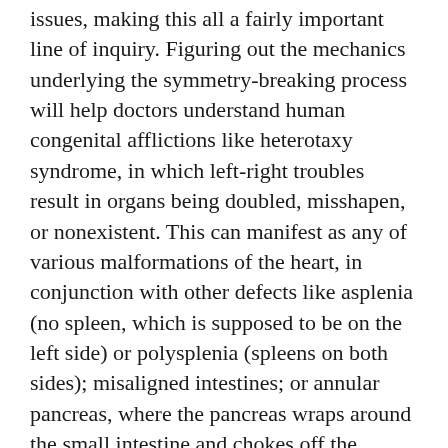issues, making this all a fairly important line of inquiry. Figuring out the mechanics underlying the symmetry-breaking process will help doctors understand human congenital afflictions like heterotaxy syndrome, in which left-right troubles result in organs being doubled, misshapen, or nonexistent. This can manifest as any of various malformations of the heart, in conjunction with other defects like asplenia (no spleen, which is supposed to be on the left side) or polysplenia (spleens on both sides); misaligned intestines; or annular pancreas, where the pancreas wraps around the small intestine and chokes off the passage of food.
The symmetry-breaking problem you'd want, if you had to have one, is what's called situs inversus totalis, in which organs develop in the chest and